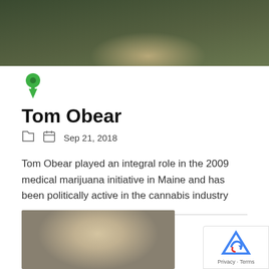[Figure (photo): Top portion of a person outdoors with green trees/foliage in background, wearing a grey/olive jacket]
[Figure (illustration): Green pushpin icon]
Tom Obear
Sep 21, 2018
Tom Obear played an integral role in the 2009 medical marijuana initiative in Maine and has been politically active in the cannabis industry
Continue Reading
[Figure (photo): Close-up photo of a middle-aged man with grey hair, light eyes, looking at camera]